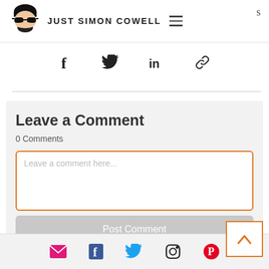JUST SIMON COWELL
[Figure (screenshot): Social share icons: Facebook, Twitter, LinkedIn, Link]
[Figure (screenshot): Leave a Comment section with textarea and Post Comment button]
Footer social icons: Email, Facebook, Twitter, Instagram, Pinterest